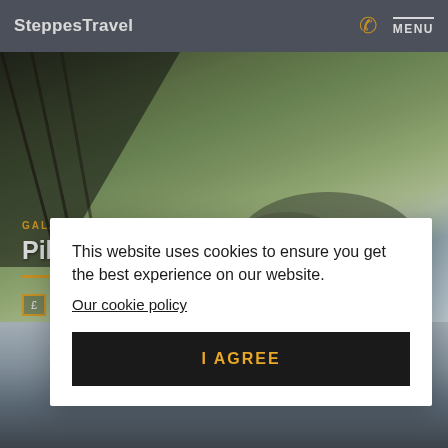SteppesTravel   MENU
[Figure (photo): Aerial/elevated view of Pikaia Lodge in the Galapagos Islands, showing a modern structure with metal framework on the left, lush green volcanic hillsides, and a pale blue sky with distant volcanic peaks.]
GALAPAGOS ISLANDS
Pikaia Lodge.
[Figure (photo): Partial view of a misty/cloudy landscape scene visible at the bottom of the page.]
This website uses cookies to ensure you get the best experience on our website.
Our cookie policy
I AGREE